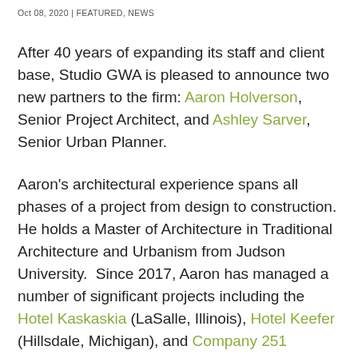Oct 08, 2020 | FEATURED, NEWS
After 40 years of expanding its staff and client base, Studio GWA is pleased to announce two new partners to the firm: Aaron Holverson, Senior Project Architect, and Ashley Sarver, Senior Urban Planner.

Aaron's architectural experience spans all phases of a project from design to construction. He holds a Master of Architecture in Traditional Architecture and Urbanism from Judson University. Since 2017, Aaron has managed a number of significant projects including the Hotel Kaskaskia (LaSalle, Illinois), Hotel Keefer (Hillsdale, Michigan), and Company 251 (Aurora, Illinois). In each of these projects, Aaron has paired his knowledge of traditional architecture and construction with his…